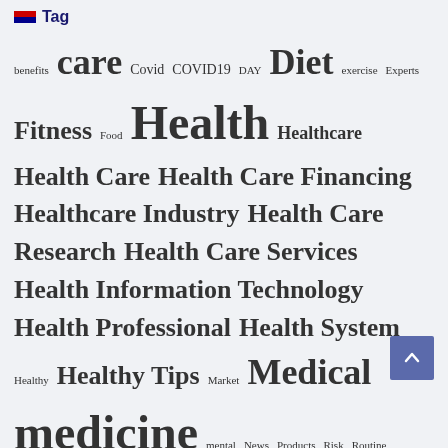Tag
benefits care Covid COVID19 DAY Diet exercise Experts Fitness Food Health Healthcare Health Care Health Care Financing Healthcare Industry Health Care Research Health Care Services Health Information Technology Health Professional Health System Healthy Healthy Tips Market Medical medicine mental News Products Risk Routine Self Improvement Selfimprovement Skin Skin Care SkinCare study style Supplement